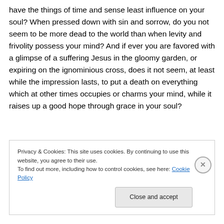have the things of time and sense least influence on your soul? When pressed down with sin and sorrow, do you not seem to be more dead to the world than when levity and frivolity possess your mind? And if ever you are favored with a glimpse of a suffering Jesus in the gloomy garden, or expiring on the ignominious cross, does it not seem, at least while the impression lasts, to put a death on everything which at other times occupies or charms your mind, while it raises up a good hope through grace in your soul?
Privacy & Cookies: This site uses cookies. By continuing to use this website, you agree to their use. To find out more, including how to control cookies, see here: Cookie Policy